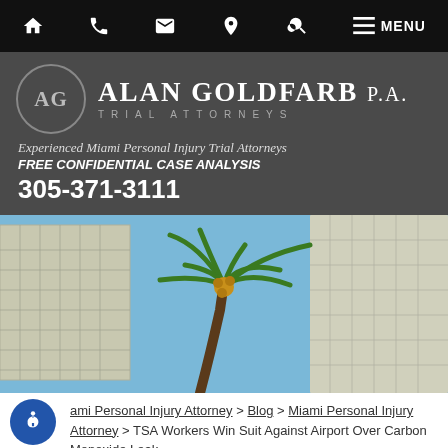Navigation bar with home, phone, email, location, search, and menu icons
[Figure (logo): Alan Goldfarb P.A. Trial Attorneys logo with AG initials in circle]
Experienced Miami Personal Injury Trial Attorneys FREE CONFIDENTIAL CASE ANALYSIS 305-371-3111
[Figure (photo): Upward-angle photo of Miami buildings and palm tree against blue sky]
ami Personal Injury Attorney > Blog > Miami Personal Injury Attorney > TSA Workers Win Suit Against Airport Over Carbon Monoxide Leak